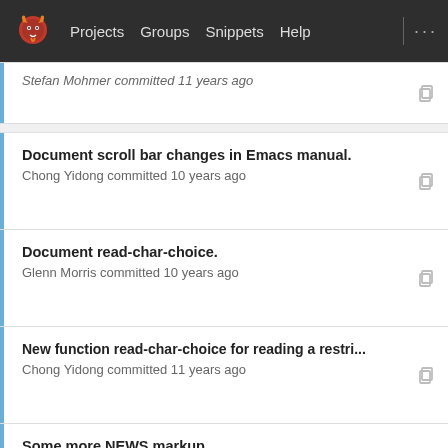[Figure (screenshot): GitLab-style navigation bar with logo, Projects, Groups, Snippets, Help links]
Stefan Mohmer committed 11 years ago
Document scroll bar changes in Emacs manual.
Chong Yidong committed 10 years ago
Document read-char-choice.
Glenn Morris committed 10 years ago
New function read-char-choice for reading a restri...
Chong Yidong committed 11 years ago
Some more NEWS markup.
Glenn Morris committed 10 years ago
Rename `image-library-alist' to `dynamic-library-ali...
Juanma Barranquero committed 11 years ago